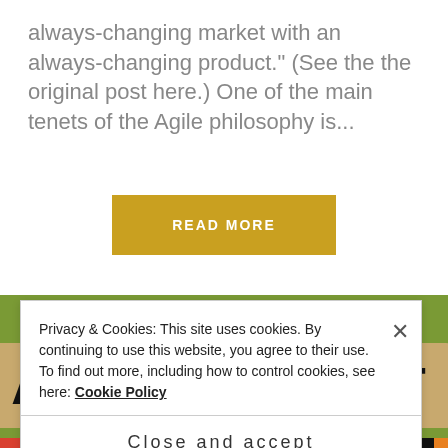always-changing market with an always-changing product." (See the the original post here.) One of the main tenets of the Agile philosophy is...
READ MORE
[Figure (photo): Photo of Scrabble letter tiles spelling out letters A, R, T on a green background]
Privacy & Cookies: This site uses cookies. By continuing to use this website, you agree to their use.
To find out more, including how to control cookies, see here: Cookie Policy
Close and accept